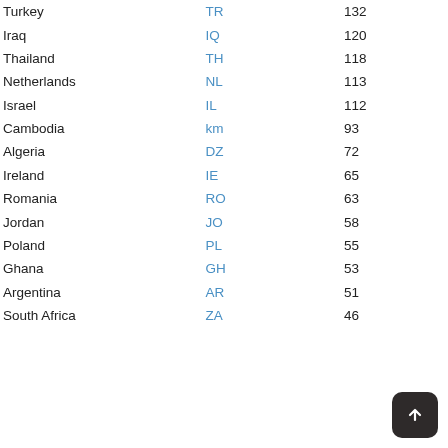| Country | Code | Count |
| --- | --- | --- |
| Turkey | TR | 132 |
| Iraq | IQ | 120 |
| Thailand | TH | 118 |
| Netherlands | NL | 113 |
| Israel | IL | 112 |
| Cambodia | km | 93 |
| Algeria | DZ | 72 |
| Ireland | IE | 65 |
| Romania | RO | 63 |
| Jordan | JO | 58 |
| Poland | PL | 55 |
| Ghana | GH | 53 |
| Argentina | AR | 51 |
| South Africa | ZA | 46 |